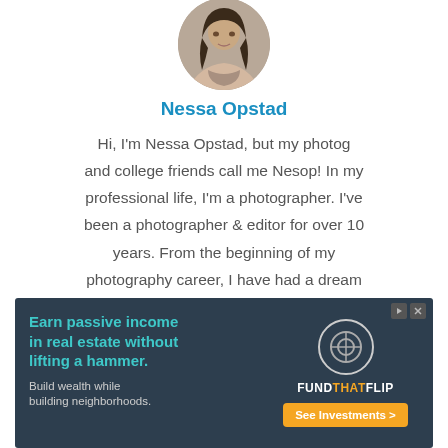[Figure (photo): Circular profile photo of a woman, cropped at top of page]
Nessa Opstad
Hi, I'm Nessa Opstad, but my photog and college friends call me Nesop! In my professional life, I'm a photographer. I've been a photographer & editor for over 10 years. From the beginning of my photography career, I have had a dream to help people who're willing to learn photography. To make my dream true, I
[Figure (infographic): Advertisement banner: 'Earn passive income in real estate without lifting a hammer. Build wealth while building neighborhoods.' with FundThatFlip logo and 'See Investments >' button]